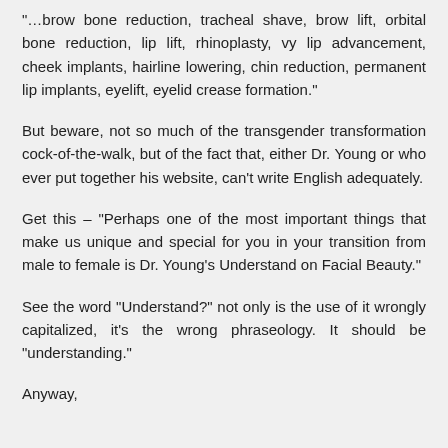“…brow bone reduction, tracheal shave, brow lift, orbital bone reduction, lip lift, rhinoplasty, vy lip advancement, cheek implants, hairline lowering, chin reduction, permanent lip implants, eyelift, eyelid crease formation.”
But beware, not so much of the transgender transformation cock-of-the-walk, but of the fact that, either Dr. Young or who ever put together his website, can’t write English adequately.
Get this – “Perhaps one of the most important things that make us unique and special for you in your transition from male to female is Dr. Young’s Understand on Facial Beauty.”
See the word “Understand?” not only is the use of it wrongly capitalized, it’s the wrong phraseology. It should be “understanding.”
Anyway,